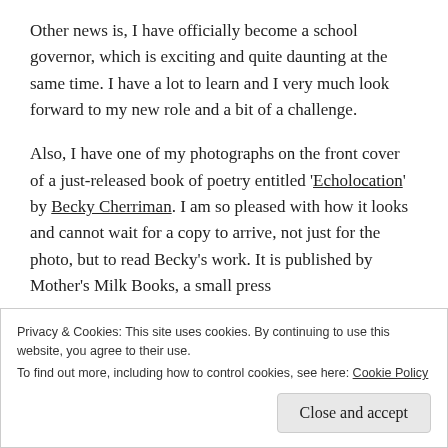Other news is, I have officially become a school governor, which is exciting and quite daunting at the same time. I have a lot to learn and I very much look forward to my new role and a bit of a challenge.
Also, I have one of my photographs on the front cover of a just-released book of poetry entitled 'Echolocation' by Becky Cherriman. I am so pleased with how it looks and cannot wait for a copy to arrive, not just for the photo, but to read Becky's work. It is published by Mother's Milk Books, a small press
Privacy & Cookies: This site uses cookies. By continuing to use this website, you agree to their use.
To find out more, including how to control cookies, see here: Cookie Policy